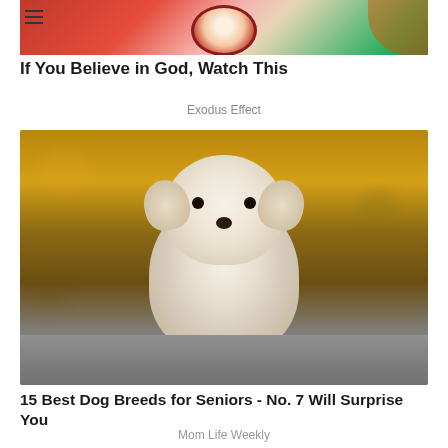[Figure (photo): Partial view of a rambutan fruit being held, showing red spiky exterior and white interior flesh, with green background]
If You Believe in God, Watch This
Exodus Effect
[Figure (photo): A small fluffy white Maltese or Maltipoo puppy sitting on a stone surface with a blurred autumn bokeh background of orange and brown tones]
15 Best Dog Breeds for Seniors - No. 7 Will Surprise You
Mom Life Weekly